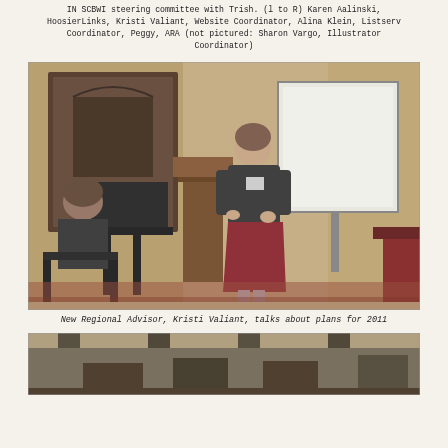IN SCBWI steering committee with Trish. (l to R) Karen Aalinski, HoosierLinks, Kristi Valiant, Website Coordinator, Alina Klein, Listserv Coordinator, Peggy, ARA (not pictured: Sharon Vargo, Illustrator Coordinator)
[Figure (photo): A woman in a dark top and red skirt stands at a wooden podium speaking to a group. A whiteboard is visible behind her. Another person is seated to the left. The room has ornate wallpaper and a wooden cabinet.]
New Regional Advisor, Kristi Valiant, talks about plans for 2011
[Figure (photo): Partial view of what appears to be an ornate room with columns or pillars visible.]